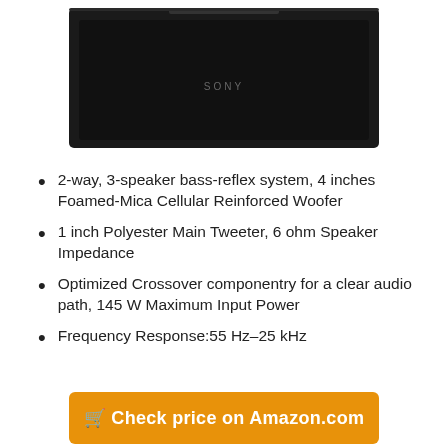[Figure (photo): Sony brand black horizontal center channel speaker on white background]
2-way, 3-speaker bass-reflex system, 4 inches Foamed-Mica Cellular Reinforced Woofer
1 inch Polyester Main Tweeter, 6 ohm Speaker Impedance
Optimized Crossover componentry for a clear audio path, 145 W Maximum Input Power
Frequency Response:55 Hz–25 kHz
🛒 Check price on Amazon.com